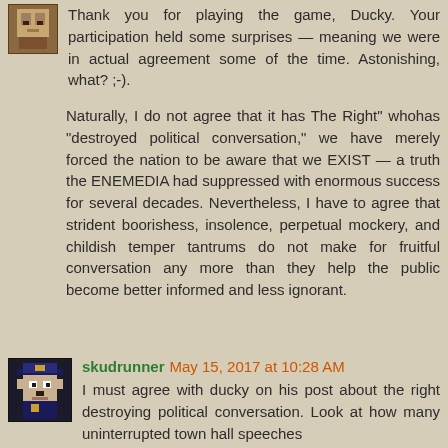[Figure (photo): Small avatar image of a person in top-left corner]
Thank you for playing the game, Ducky. Your participation held some surprises — meaning we were in actual agreement some of the time. Astonishing, what? ;-).
Naturally, I do not agree that it has The Right' whohas "destroyed political conversation," we have merely forced the nation to be aware that we EXIST — a truth the ENEMEDIA had suppressed with enormous success for several decades. Nevertheless, I have to agree that strident boorishess, insolence, perpetual mockery, and childish temper tantrums do not make for fruitful conversation any more than they help the public become better informed and less ignorant.
[Figure (illustration): Pixel art avatar of a bear/animal character wearing a police/military cap]
skudrunner May 15, 2017 at 10:28 AM
I must agree with ducky on his post about the right destroying political conversation. Look at how many uninterrupted town hall speeches